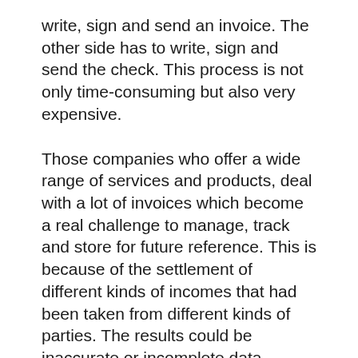write, sign and send an invoice. The other side has to write, sign and send the check. This process is not only time-consuming but also very expensive.
Those companies who offer a wide range of services and products, deal with a lot of invoices which become a real challenge to manage, track and store for future reference. This is because of the settlement of different kinds of incomes that had been taken from different kinds of parties. The results could be inaccurate or incomplete data.
Electronic invoices are a new trend in business. Things are changing every day. Technology is developing every minute. The need for automation is increasing day by